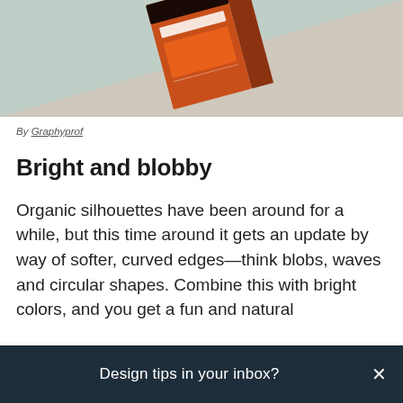[Figure (photo): Photo of an orange/rust colored product box (appears to be KFC branded) on a two-toned background of sage green and tan/beige.]
By Graphyprof
Bright and blobby
Organic silhouettes have been around for a while, but this time around it gets an update by way of softer, curved edges—think blobs, waves and circular shapes. Combine this with bright colors, and you get a fun and natural
Design tips in your inbox?